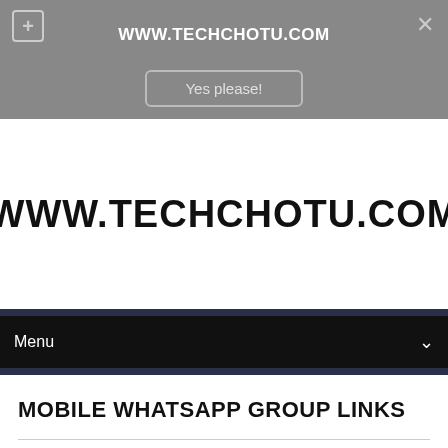WWW.TECHCHOTU.COM
Yes please!
[Figure (screenshot): Website logo displaying WWW.TECHCHOTU.COM in large bold black text on white background]
Menu
MOBILE WHATSAPP GROUP LINKS